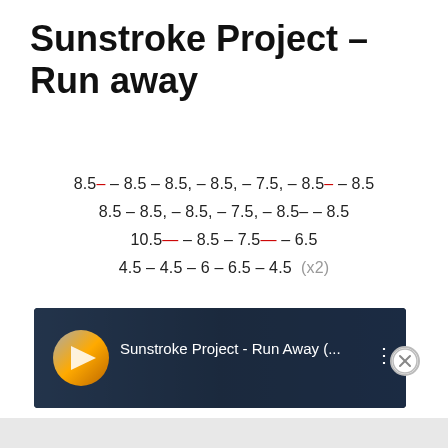Sunstroke Project – Run away
8.5– – 8.5 – 8.5, – 8.5, – 7.5, – 8.5– – 8.5
8.5 – 8.5, – 8.5, – 7.5, – 8.5– – 8.5
10.5— – 8.5 – 7.5— – 6.5
4.5 – 4.5 – 6 – 6.5 – 4.5  (x2)
[Figure (screenshot): YouTube video thumbnail for Sunstroke Project - Run Away with circular icon and dark keyboard background]
Advertisements